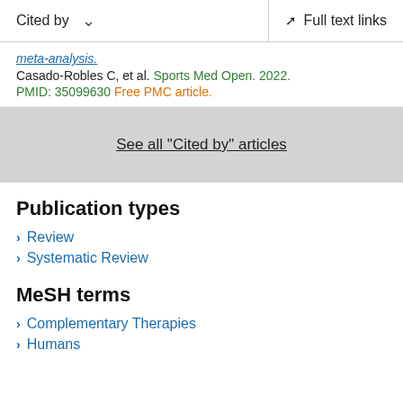Cited by   Full text links
meta-analysis.
Casado-Robles C, et al. Sports Med Open. 2022.
PMID: 35099630 Free PMC article.
See all "Cited by" articles
Publication types
Review
Systematic Review
MeSH terms
Complementary Therapies
Humans